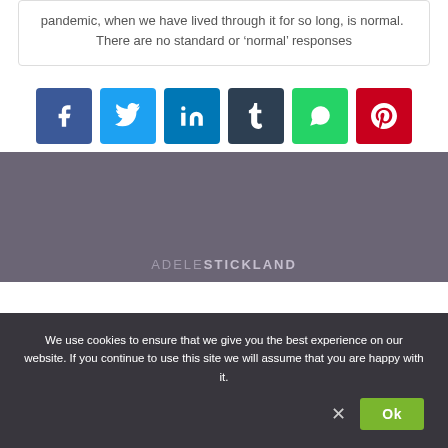pandemic, when we have lived through it for so long, is normal.  There are no standard or 'normal' responses
[Figure (infographic): Six social media share buttons: Facebook (dark blue), Twitter (light blue), LinkedIn (medium blue), Tumblr (dark slate), WhatsApp (green), Pinterest (red), each displayed as a colored square with the respective icon in white.]
[Figure (infographic): Grey section footer area with 'ADELE STICKLAND' text partially visible at the bottom, in muted purple/grey tones.]
We use cookies to ensure that we give you the best experience on our website. If you continue to use this site we will assume that you are happy with it.